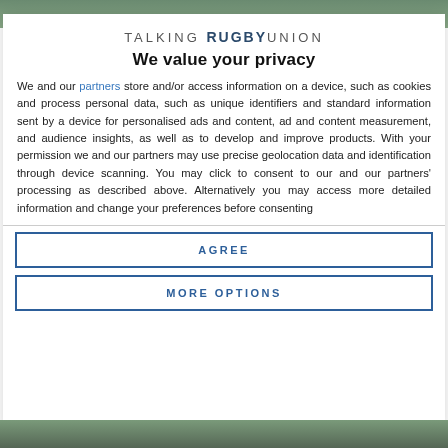[Figure (photo): Partial photo visible at top of page behind modal overlay]
[Figure (logo): Talking Rugby Union logo — text reading TALKING RUGBY UNION in uppercase with RUGBY in bold dark navy]
We value your privacy
We and our partners store and/or access information on a device, such as cookies and process personal data, such as unique identifiers and standard information sent by a device for personalised ads and content, ad and content measurement, and audience insights, as well as to develop and improve products. With your permission we and our partners may use precise geolocation data and identification through device scanning. You may click to consent to our and our partners' processing as described above. Alternatively you may access more detailed information and change your preferences before consenting
AGREE
MORE OPTIONS
[Figure (photo): Partial photo visible at bottom of page behind modal overlay]